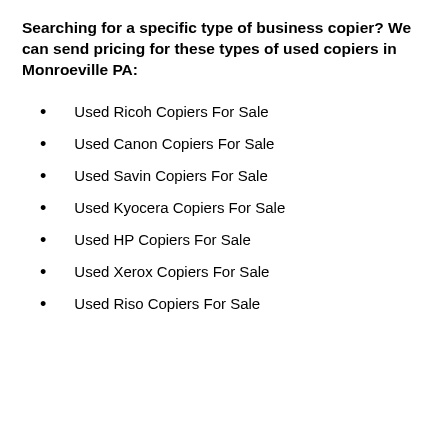Searching for a specific type of business copier? We can send pricing for these types of used copiers in Monroeville PA:
Used Ricoh Copiers For Sale
Used Canon Copiers For Sale
Used Savin Copiers For Sale
Used Kyocera Copiers For Sale
Used HP Copiers For Sale
Used Xerox Copiers For Sale
Used Riso Copiers For Sale